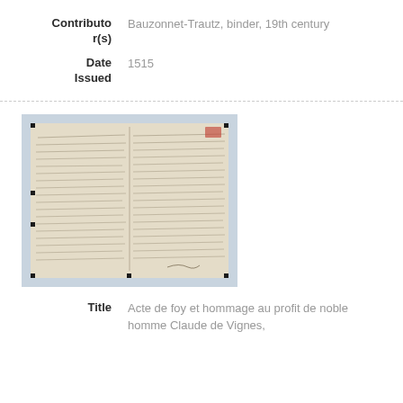Contributor(s): Bauzonnet-Trautz, binder, 19th century
Date Issued: 1515
[Figure (photo): Photograph of a historical manuscript document from 1515, showing handwritten text in two columns on aged parchment, mounted with corner dots on a light blue-grey background.]
Title: Acte de foy et hommage au profit de noble homme Claude de Vignes,